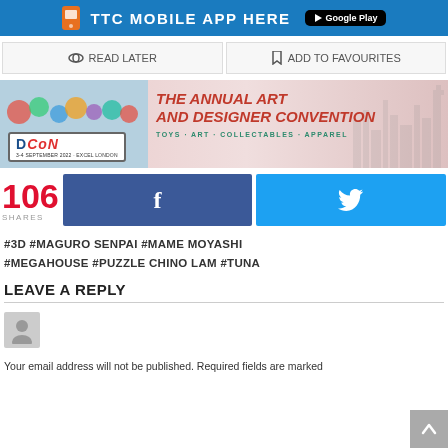[Figure (infographic): Blue banner: TTC MOBILE APP HERE with Google Play button]
[Figure (infographic): READ LATER and ADD TO FAVOURITES action buttons]
[Figure (infographic): DCon banner - The Annual Art and Designer Convention, Toys - Art - Collectables - Apparel, 3-4 September 2022 Excel London]
[Figure (infographic): 106 SHARES with Facebook and Twitter share buttons]
#3D  #MAGURO SENPAI  #MAME MOYASHI  #MEGAHOUSE  #PUZZLE CHINO LAM  #TUNA
LEAVE A REPLY
Your email address will not be published. Required fields are marked